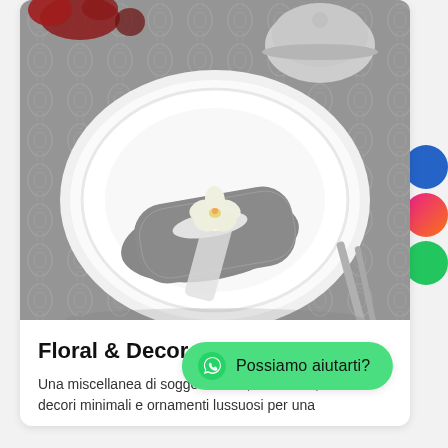[Figure (photo): Elegant table setting with a folded gray damask napkin tied with a white ribbon and orchid flower on a white plate, with floral patterned gray tablecloth and silverware in background]
Floral & Decor
Una miscellanea di soggetti fiorali, arabeschi, decori minimali e ornamenti lussuosi per una
[Figure (other): WhatsApp chat button with text 'Possiamo aiutarti?']